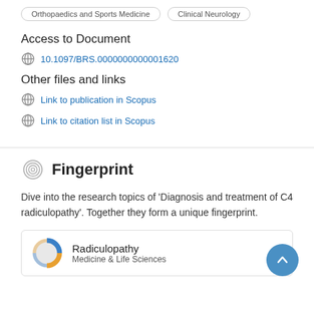Orthopaedics and Sports Medicine | Clinical Neurology
Access to Document
10.1097/BRS.0000000000001620
Other files and links
Link to publication in Scopus
Link to citation list in Scopus
Fingerprint
Dive into the research topics of 'Diagnosis and treatment of C4 radiculopathy'. Together they form a unique fingerprint.
Radiculopathy
Medicine & Life Sciences